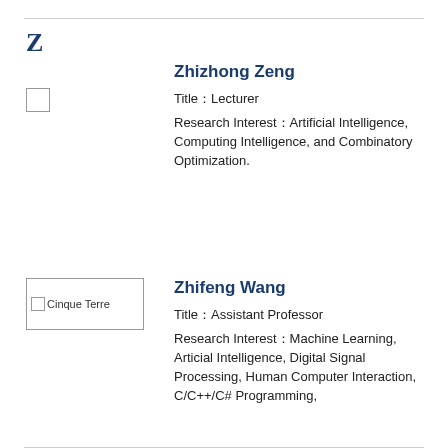Z
[Figure (photo): Small photo placeholder for Zhizhong Zeng]
Zhizhong Zeng
Title：Lecturer
Research Interest：Artificial Intelligence, Computing Intelligence, and Combinatory Optimization.
[Figure (photo): Photo placeholder labeled Cinque Terre for Zhifeng Wang]
Zhifeng Wang
Title：Assistant Professor
Research Interest：Machine Learning, Articial Intelligence, Digital Signal Processing, Human Computer Interaction, C/C++/C# Programming,